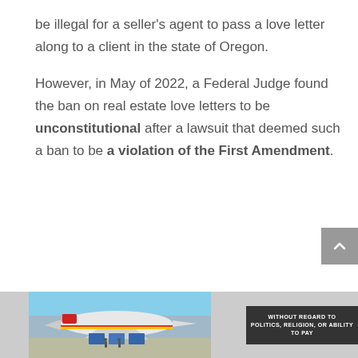be illegal for a seller's agent to pass a love letter along to a client in the state of Oregon.
However, in May of 2022, a Federal Judge found the ban on real estate love letters to be unconstitutional after a lawsuit that deemed such a ban to be a violation of the First Amendment.
[Figure (photo): Advertisement banner showing an airplane being loaded with cargo, with text 'WITHOUT REGARD TO POLITICS, RELIGION, OR ABILITY TO PAY' on a dark background on the right side.]